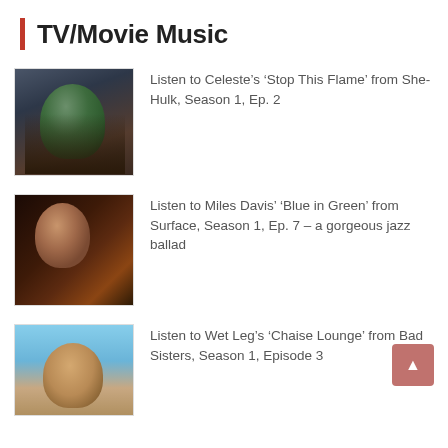TV/Movie Music
Listen to Celeste’s ‘Stop This Flame’ from She-Hulk, Season 1, Ep. 2
Listen to Miles Davis’ ‘Blue in Green’ from Surface, Season 1, Ep. 7 – a gorgeous jazz ballad
Listen to Wet Leg’s ‘Chaise Lounge’ from Bad Sisters, Season 1, Episode 3